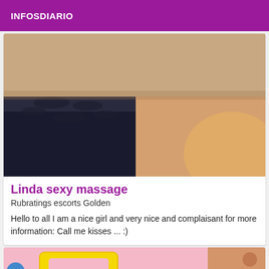INFOSDIARIO
[Figure (photo): Close-up photo of a person wearing black lace lingerie top, partial torso view]
Linda sexy massage
Rubratings escorts Golden
Hello to all I am a nice girl and very nice and complaisant for more information: Call me kisses ... :)
[Figure (photo): Partial bottom image showing colorful graphic with yellow and pink colors]